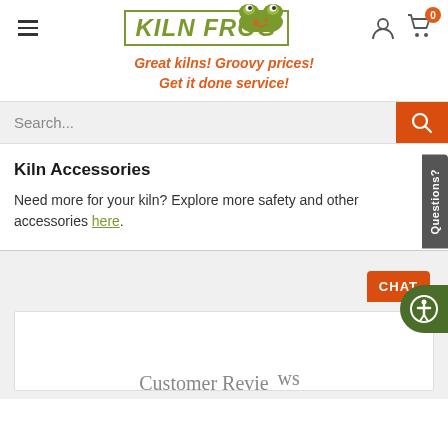[Figure (logo): Kiln Frog logo with green frog illustration and green bordered text box]
Great kilns! Groovy prices! Get it done service!
Search...
Kiln Accessories
Need more for your kiln? Explore more safety and other accessories here.
[Figure (screenshot): Bottom gray section with CHAT bubble and customer service person icon, and beginning of white card with Customer Reviews text partially visible]